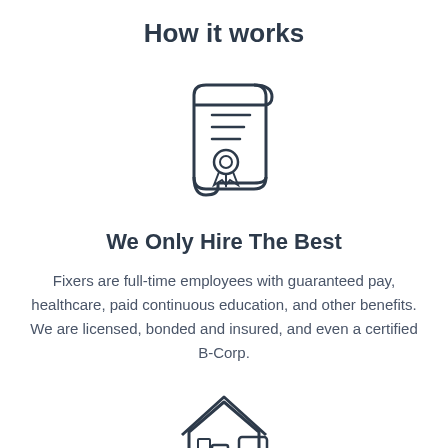How it works
[Figure (illustration): Certificate/scroll icon with award ribbon, line-art style in dark navy blue]
We Only Hire The Best
Fixers are full-time employees with guaranteed pay, healthcare, paid continuous education, and other benefits. We are licensed, bonded and insured, and even a certified B-Corp.
[Figure (illustration): House/home with hand holding a card, line-art style in dark navy blue (partially visible at bottom)]